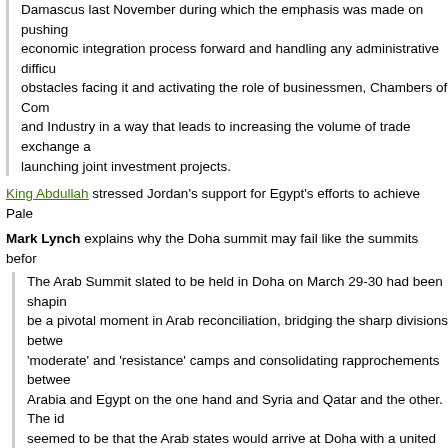Damascus last November during which the emphasis was made on pushing economic integration process forward and handling any administrative difficulties obstacles facing it and activating the role of businessmen, Chambers of Commerce and Industry in a way that leads to increasing the volume of trade exchange and launching joint investment projects.
King Abdullah stressed Jordan's support for Egypt's efforts to achieve Pales…
Mark Lynch explains why the Doha summit may fail like the summits befor…
The Arab Summit slated to be held in Doha on March 29-30 had been shaping up to be a pivotal moment in Arab reconciliation, bridging the sharp divisions between 'moderate' and 'resistance' camps and consolidating rapprochements between Saudi Arabia and Egypt on the one hand and Syria and Qatar and the other. The idea seemed to be that the Arab states would arrive at Doha with a united Arab front, a Palestinian national unity government, and a renewed Arab peace initiative. But it's been running into some pretty heavy turbulence and now may have quite the opposite effect. As I've noted in some earlier posts, the Palestinian reconciliation part isn't going so well….
Syria appoints first ambassador to Lebanon
BEIRUT (Reuters) – Syria has appointed its first ambassador to Lebanon and Lebanese President Michel Suleiman accepted his diplomatic accreditation Thursday, according to a statement from the Lebanese presidency.
The Lebanese presidency named the diplomat as Ali Abdul Karim Ali. Lebanon this week opened its first embassy in Damascus and has named its ambassador as Michel Khoury. Syria had opened its Beirut embassy last year….
Establishment of formal relations had been a central demand of anti-Syrian…